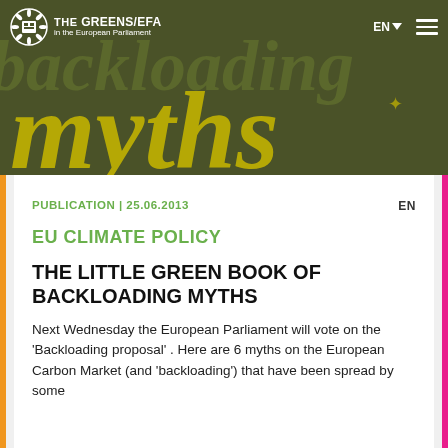[Figure (screenshot): The Greens/EFA European Parliament website header banner with dark olive green background, large decorative yellow/gold text reading 'backloading myths' in ornate gothic style, with navigation bar showing logo, EN language selector, and hamburger menu]
PUBLICATION | 25.06.2013     EN
EU CLIMATE POLICY
THE LITTLE GREEN BOOK OF BACKLOADING MYTHS
Next Wednesday the European Parliament will vote on the 'Backloading proposal' . Here are 6 myths on the European Carbon Market (and 'backloading') that have been spread by some